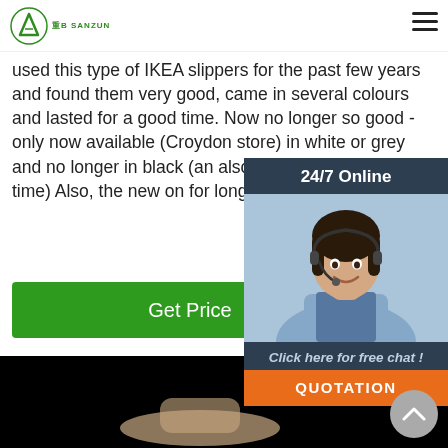SANZUN logo and navigation
used this type of IKEA slippers for the past few years and found them very good, came in several colours and lasted for a good time. Now no longer so good - only now available (Croydon store) in white or grey and no longer in black (and also in navy blue at some time) Also, the new on for long because the ...
Get Price
[Figure (photo): Black background photo area with a slipper visible at the bottom]
[Figure (infographic): 24/7 Online chat widget with a customer service representative photo, 'Click here for free chat!' text, and QUOTATION orange button]